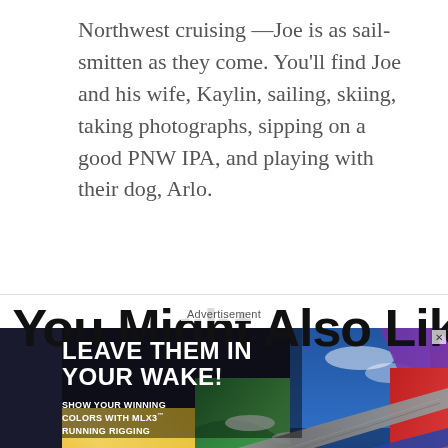Northwest cruising —Joe is as sail-smitten as they come. You'll find Joe and his wife, Kaylin, sailing, skiing, taking photographs, sipping on a good PNW IPA, and playing with their dog, Arlo.
You Might Also Like
[Figure (photo): Samson MLX3 Running Rigging advertisement showing colorful diagonal rope strips over scenic ocean/sky photos. Text reads: LEAVE THEM IN YOUR WAKE! SHOW YOUR WINNING COLORS WITH MLX3 RUNNING RIGGING. Samson logo at bottom right with tagline THE STRONGEST NAME IN ROPE.]